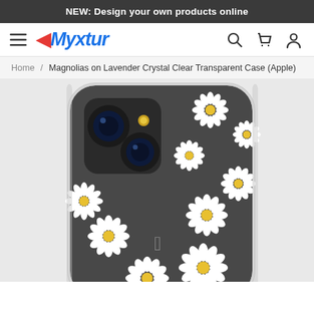NEW: Design your own products online
[Figure (screenshot): Myxtur website navigation bar with hamburger menu, Myxtur logo in blue italic with red arrow icon, search, cart, and user icons on the right]
Home / Magnolias on Lavender Crystal Clear Transparent Case (Apple)
[Figure (photo): iPhone case with white daisy flowers pattern on dark gray/charcoal background, showing back of phone with dual camera cutout and Apple logo]